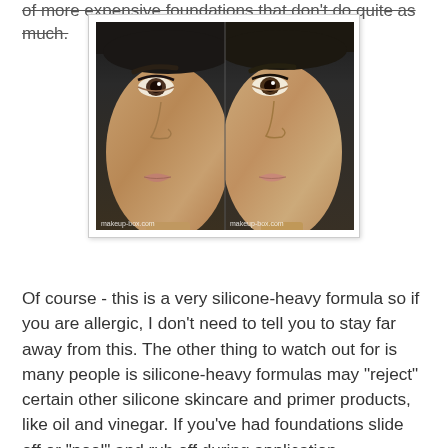of more expensive foundations that don't do quite as much.
[Figure (photo): Before and after comparison of face makeup/foundation application — two side-by-side close-up photos of a person's face showing skin with and without foundation, with watermark 'makeup-box.com' on each photo]
Of course - this is a very silicone-heavy formula so if you are allergic, I don't need to tell you to stay far away from this. The other thing to watch out for is many people is silicone-heavy formulas may "reject" certain other silicone skincare and primer products, like oil and vinegar. If you've had foundations slide off or "pool" and rub off during application